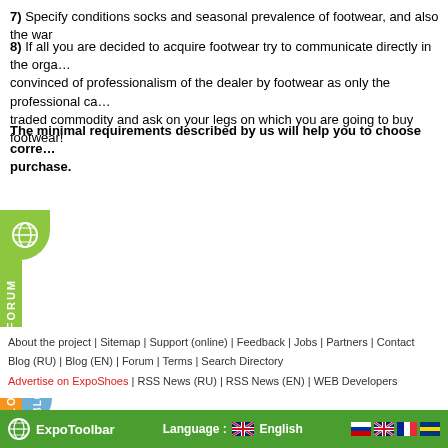7) Specify conditions socks and seasonal prevalence of footwear, and also the war…
8) If all you are decided to acquire footwear try to communicate directly in the orga… convinced of professionalism of the dealer by footwear as only the professional ca… traded commodity and ask on your legs on which you are going to buy footwear!
The minimal requirements described by us will help you to choose corre… purchase.
[Figure (infographic): Sidebar navigation tabs: globe icon (green), FORUM tab (green vertical), BLOG RU tab (orange vertical), BLOG EN tab (blue vertical with rounded shape)]
About the project | Sitemap | Support (online) | Feedback | Jobs | Partners | Contact
Blog (RU) | Blog (EN) | Forum | Terms | Search Directory
Advertise on ExpoShoes | RSS News (RU) | RSS News (EN) | WEB Developers
ExpoShoes    Language : English